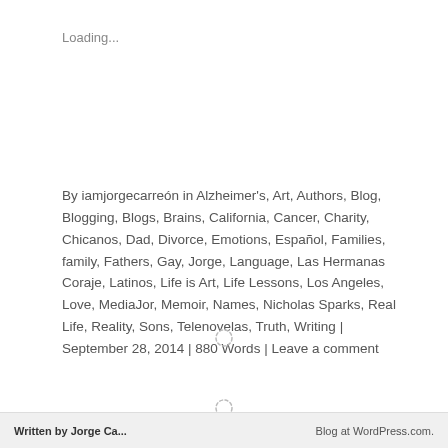Loading...
By iamjorgecarreón in Alzheimer's, Art, Authors, Blog, Blogging, Blogs, Brains, California, Cancer, Charity, Chicanos, Dad, Divorce, Emotions, Español, Families, family, Fathers, Gay, Jorge, Language, Las Hermanas Coraje, Latinos, Life is Art, Life Lessons, Los Angeles, Love, MediaJor, Memoir, Names, Nicholas Sparks, Real Life, Reality, Sons, Telenovelas, Truth, Writing | September 28, 2014 | 880 Words | Leave a comment
[Figure (other): Loading spinner icon - circular dashed ring]
[Figure (other): Loading spinner icon - circular dashed ring]
Written by Jorge Ca... | Blog at WordPress.com.